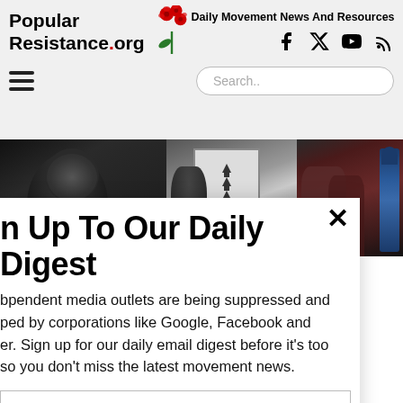Popular Resistance.org — Daily Movement News And Resources
[Figure (photo): Protest scene with people holding signs outdoors on a city street]
Sign Up To Our Daily Digest
Independent media outlets are being suppressed and developed by corporations like Google, Facebook and Twitter. Sign up for our daily email digest before it's too late so you don't miss the latest movement news.
Email input field and Subscribe button